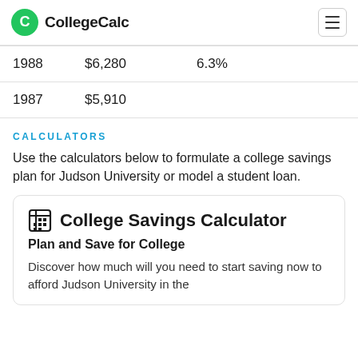CollegeCalc
| Year | Cost | Change |
| --- | --- | --- |
| 1988 | $6,280 | 6.3% |
| 1987 | $5,910 |  |
CALCULATORS
Use the calculators below to formulate a college savings plan for Judson University or model a student loan.
College Savings Calculator
Plan and Save for College
Discover how much will you need to start saving now to afford Judson University in the